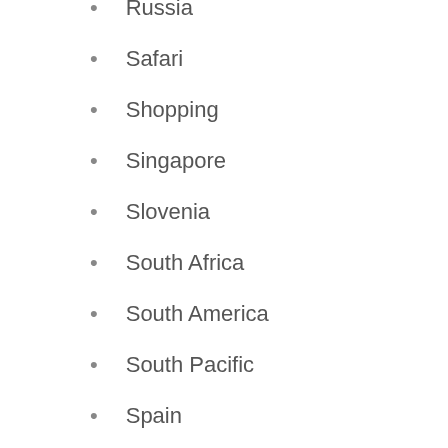Russia
Safari
Shopping
Singapore
Slovenia
South Africa
South America
South Pacific
Spain
Spas
Sri Lanka
Sweden
Switzerland
Tahiti
Tanzania
Thailand
The Netherlands
Top 10
Toronto
Travel Tips
Tunisia
Turkey